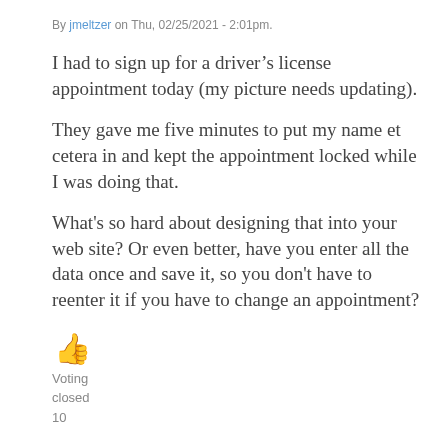By jmeltzer on Thu, 02/25/2021 - 2:01pm.
I had to sign up for a driver’s license appointment today (my picture needs updating).
They gave me five minutes to put my name et cetera in and kept the appointment locked while I was doing that.
What's so hard about designing that into your web site? Or even better, have you enter all the data once and save it, so you don't have to reenter it if you have to change an appointment?
[Figure (other): Thumbs up emoji in orange/yellow color]
Voting
closed
10